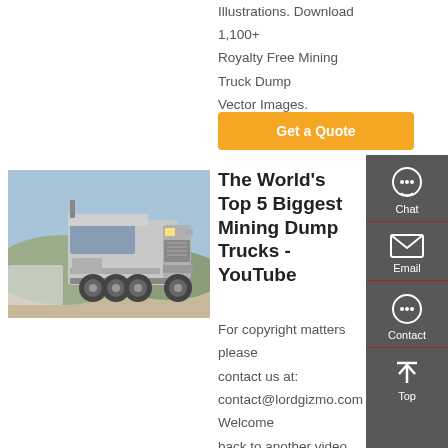Illustrations. Download 1,100+ Royalty Free Mining Truck Dump Vector Images.
Get a Quote
[Figure (photo): A large silver mining dump truck cab parked in a dusty outdoor area with hills in the background.]
The World's Top 5 Biggest Mining Dump Trucks - YouTube
For copyright matters please contact us at: contact@lordgizmo.com Welcome back to another video from Lord Gizmo. Today we'll be looking at